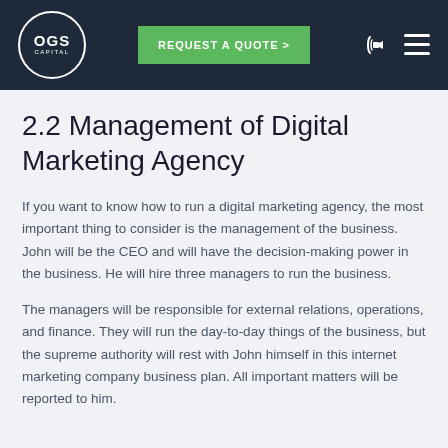OGS CAPITAL | REQUEST A QUOTE >
2.2 Management of Digital Marketing Agency
If you want to know how to run a digital marketing agency, the most important thing to consider is the management of the business. John will be the CEO and will have the decision-making power in the business. He will hire three managers to run the business.
The managers will be responsible for external relations, operations, and finance. They will run the day-to-day things of the business, but the supreme authority will rest with John himself in this internet marketing company business plan. All important matters will be reported to him.